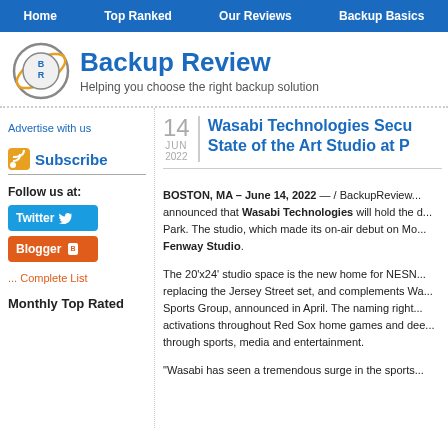Home | Top Ranked | Our Reviews | Backup Basics
[Figure (logo): Backup Review logo with circular BR emblem and orange orbit ring]
Backup Review — Helping you choose the right backup solution
Advertise with us
Subscribe
Follow us at:
Twitter
Blogger
... Complete List
Monthly Top Rated
Wasabi Technologies Secu State of the Art Studio at P
14 JUN 2022
BOSTON, MA – June 14, 2022 — / BackupReview... announced that Wasabi Technologies will hold the d... Park. The studio, which made its on-air debut on Mo... Fenway Studio.

The 20'x24' studio space is the new home for NESN... replacing the Jersey Street set, and complements Wa... Sports Group, announced in April. The naming right... activations throughout Red Sox home games and dee... through sports, media and entertainment.

"Wasabi has seen a tremendous surge in the sports...